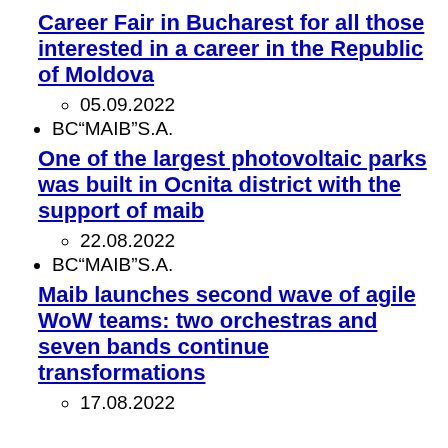Career Fair in Bucharest for all those interested in a career in the Republic of Moldova
05.09.2022
BC“MAIB”S.A.
One of the largest photovoltaic parks was built in Ocnita district with the support of maib
22.08.2022
BC“MAIB”S.A.
Maib launches second wave of agile WoW teams: two orchestras and seven bands continue transformations
17.08.2022